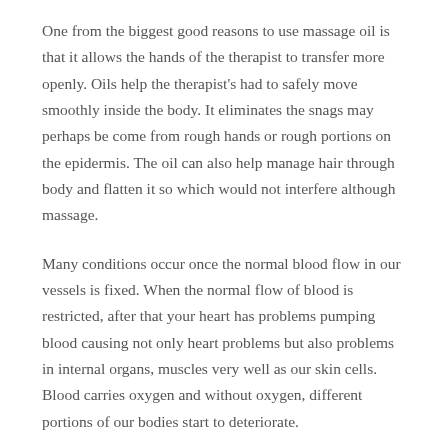One from the biggest good reasons to use massage oil is that it allows the hands of the therapist to transfer more openly. Oils help the therapist's had to safely move smoothly inside the body. It eliminates the snags may perhaps be come from rough hands or rough portions on the epidermis. The oil can also help manage hair through body and flatten it so which would not interfere although massage.
Many conditions occur once the normal blood flow in our vessels is fixed. When the normal flow of blood is restricted, after that your heart has problems pumping blood causing not only heart problems but also problems in internal organs, muscles very well as our skin cells. Blood carries oxygen and without oxygen, different portions of our bodies start to deteriorate.
It can be a great idea to choose a few stores that in order to try